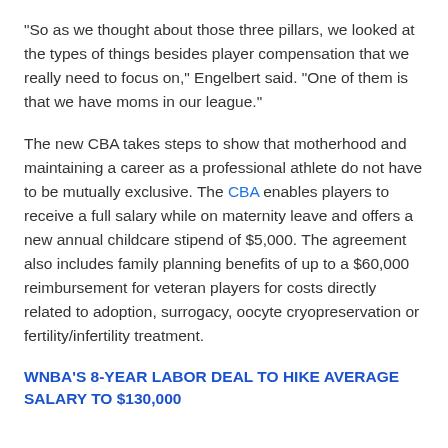“So as we thought about those three pillars, we looked at the types of things besides player compensation that we really need to focus on,” Engelbert said. “One of them is that we have moms in our league.”
The new CBA takes steps to show that motherhood and maintaining a career as a professional athlete do not have to be mutually exclusive. The CBA enables players to receive a full salary while on maternity leave and offers a new annual childcare stipend of $5,000. The agreement also includes family planning benefits of up to a $60,000 reimbursement for veteran players for costs directly related to adoption, surrogacy, oocyte cryopreservation or fertility/infertility treatment.
WNBA’S 8-YEAR LABOR DEAL TO HIKE AVERAGE SALARY TO $130,000